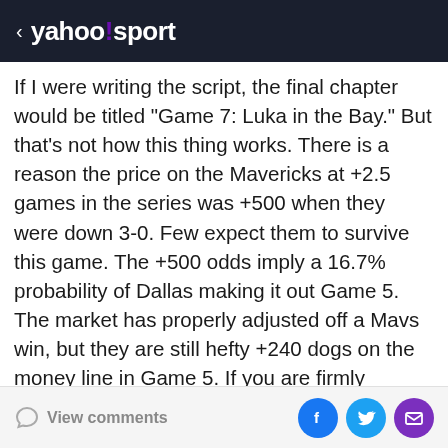< yahoo!sport
If I were writing the script, the final chapter would be titled "Game 7: Luka in the Bay." But that's not how this thing works. There is a reason the price on the Mavericks at +2.5 games in the series was +500 when they were down 3-0. Few expect them to survive this game. The +500 odds imply a 16.7% probability of Dallas making it out Game 5. The market has properly adjusted off a Mavs win, but they are still hefty +240 dogs on the money line in Game 5. If you are firmly convinced the Warriors will end the series on Thursday night, the halftime/final market might be worth a small stake. Dallas is +28 in the first half in Games 2-4, including hanging 72 in the first half of Game 2 in Golden State. I
View comments